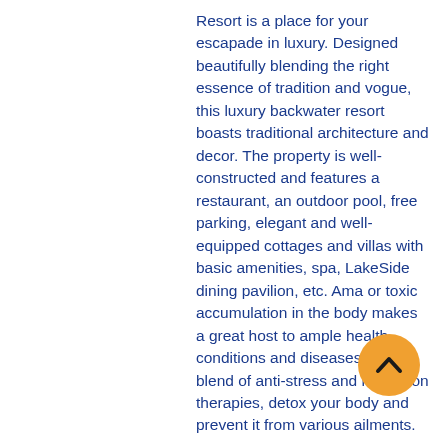Resort is a place for your escapade in luxury. Designed beautifully blending the right essence of tradition and vogue, this luxury backwater resort boasts traditional architecture and decor. The property is well-constructed and features a restaurant, an outdoor pool, free parking, elegant and well-equipped cottages and villas with basic amenities, spa, LakeSide dining pavilion, etc. Ama or toxic accumulation in the body makes a great host to ample health conditions and diseases. With a blend of anti-stress and relaxation therapies, detox your body and prevent it from various ailments.
The Body Purification program is a well-planned course based on two extremely important Ayurvedic treatments of Panchakarma and Swethakarma. The program is designed by in-house Ayurveda experts who have unparalleled expertise...
[Figure (other): Orange circular scroll-to-top button with a dark upward-pointing chevron arrow]